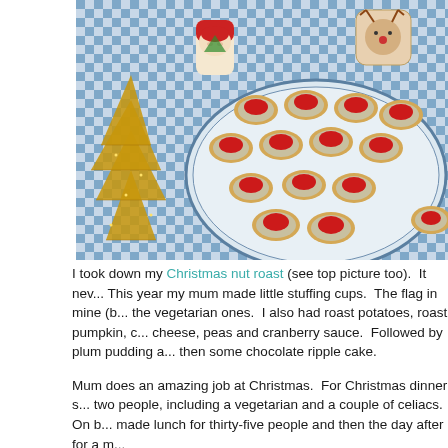[Figure (photo): Photo of a blue and white checkered tablecloth with a plate of small round toasts/blinis topped with cream and red cranberry sauce. A gold glittery Christmas tree decoration is in the foreground left. Christmas-themed ceramic salt/pepper shakers (Santa and a reindeer) are visible in the background.]
I took down my Christmas nut roast (see top picture too). It nev... This year my mum made little stuffing cups. The flag in mine (b... the vegetarian ones. I also had roast potatoes, roast pumpkin, c... cheese, peas and cranberry sauce. Followed by plum pudding a... then some chocolate ripple cake.
Mum does an amazing job at Christmas. For Christmas dinner s... two people, including a vegetarian and a couple of celiacs. On b... made lunch for thirty-five people and then the day after for a m...